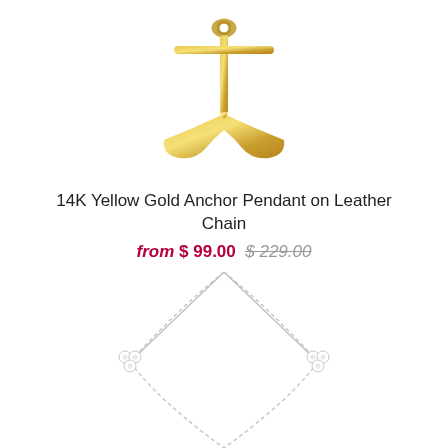[Figure (photo): 14K yellow gold anchor pendant, shown upside down with the flukes pointing upward, gold color, on white background]
14K Yellow Gold Anchor Pendant on Leather Chain
from $ 99.00  $ 229.00
[Figure (photo): Silver chain necklace with two small diamond cluster pendants shaped like trefoils/clovers, displayed on white background]